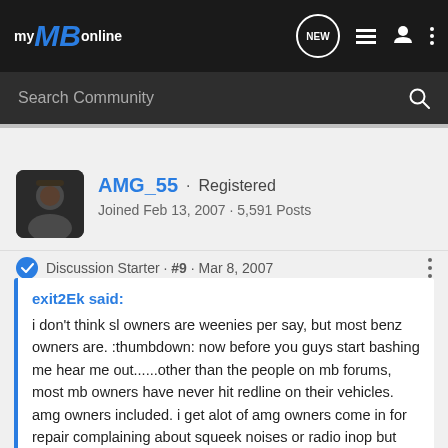[Figure (screenshot): myMBonline forum website logo and navigation bar with NEW chat button, list icon, profile icon, and three-dot menu]
Search Community
[Figure (photo): Avatar photo of user AMG_55 showing a person in dark lighting]
AMG_55 · Registered
Joined Feb 13, 2007 · 5,591 Posts
Discussion Starter · #9 · Mar 8, 2007
exit2Ek said:
i don't think sl owners are weenies per say, but most benz owners are. :thumbdown: now before you guys start bashing me hear me out......other than the people on mb forums, most mb owners have never hit redline on their vehicles. amg owners included. i get alot of amg owners come in for repair complaining about squeek noises or radio inop but not complaining about the supercharger disengaging cause the intercooler pump took a shit. they don't even know their